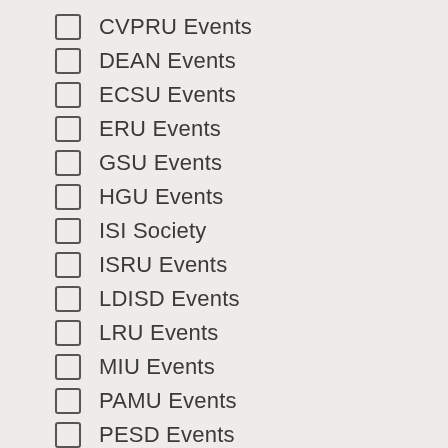CVPRU Events
DEAN Events
ECSU Events
ERU Events
GSU Events
HGU Events
ISI Society
ISRU Events
LDISD Events
LRU Events
MIU Events
PAMU Events
PESD Events
PRU Events
PSU Events
SMD Events
SMU Events